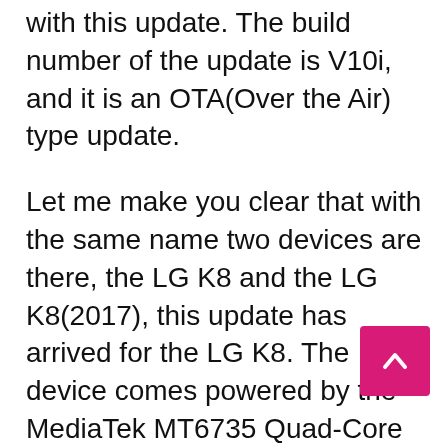with this update. The build number of the update is V10i, and it is an OTA(Over the Air) type update.
Let me make you clear that with the same name two devices are there, the LG K8 and the LG K8(2017), this update has arrived for the LG K8. The device comes powered by the MediaTek MT6735 Quad-Core processor coupled with 1.5GB of RAM along with a Mali-T720 GPU.
The device is available in 8GB/16GB ROM versions which are expandable up to 32GB via micro-SD card. There is a 5.0(inch) Display with a resolution of 1280 x 720 pixels. In the Camera department, it has an 8MP rear camera with an aperture of f/2.d 5.0 TD...